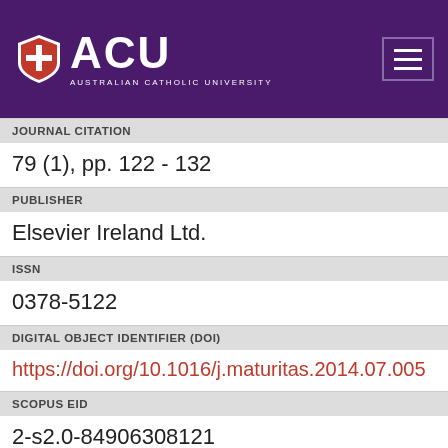ACU - Australian Catholic University
JOURNAL CITATION
79 (1), pp. 122 - 132
PUBLISHER
Elsevier Ireland Ltd.
ISSN
0378-5122
DIGITAL OBJECT IDENTIFIER (DOI)
https://doi.org/10.1016/j.maturitas.2014.07.005
SCOPUS EID
2-s2.0-84906308121
PAGE RANGE